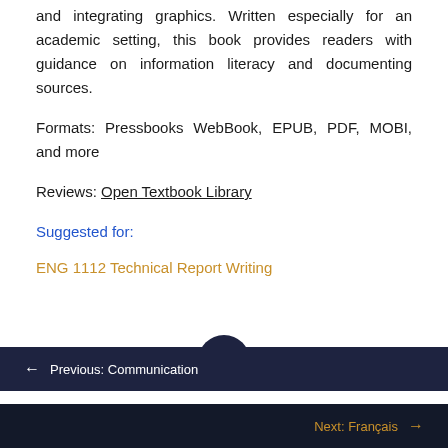and integrating graphics. Written especially for an academic setting, this book provides readers with guidance on information literacy and documenting sources.
Formats: Pressbooks WebBook, EPUB, PDF, MOBI, and more
Reviews: Open Textbook Library
Suggested for:
ENG 1112 Technical Report Writing
← Previous: Communication
Next: Français →